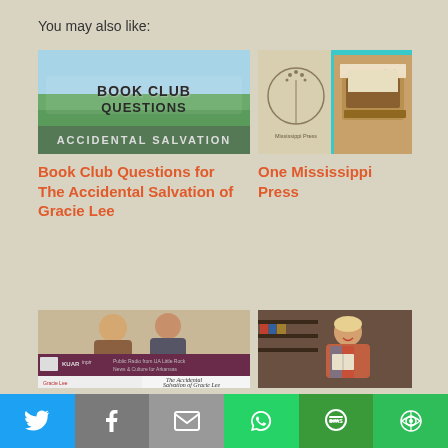You may also like:
[Figure (photo): Book Club Questions image with text overlay on green grassy background with text 'BOOK CLUB QUESTIONS' and 'ACCIDENTAL SALVATION']
[Figure (photo): One Mississippi Press - two images: circle logo with dandelion and text 'Mississippi Press', and typewriter image with 'Grace Grit (Lit)' text]
Book Club Questions for The Accidental Salvation of Gracie Lee
One Mississippi Press
[Figure (photo): Radio show screenshot with KUAR Public Radio from UA Little Rock logo and Accidental Salvation of Gracie Lee book segment]
[Figure (photo): Photo of a smiling woman holding a book in a bookstore setting]